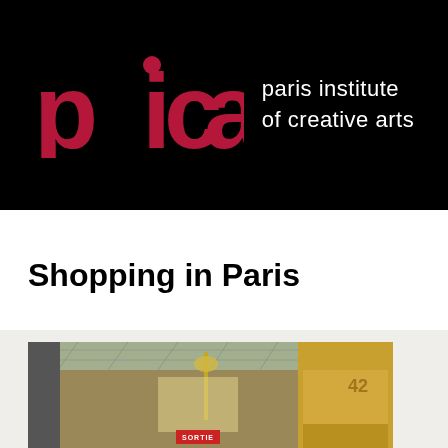[Figure (logo): PICA logo — large crimson 'pica' wordmark with dot over the i, next to white text reading 'paris institute of creative arts' on black background]
Shopping in Paris
[Figure (photo): Interior of a covered Parisian arcade passage with glass roof, lamp post, yellow shopfronts, and a 'SORTIE' sign visible at the bottom]